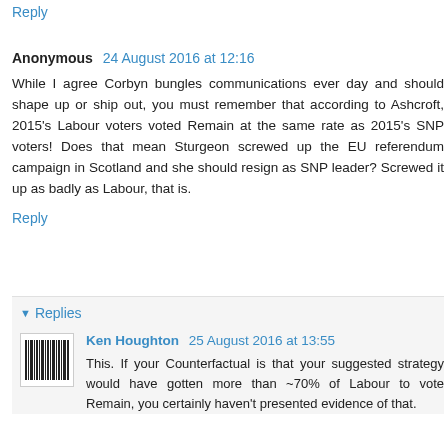Reply
Anonymous 24 August 2016 at 12:16
While I agree Corbyn bungles communications ever day and should shape up or ship out, you must remember that according to Ashcroft, 2015's Labour voters voted Remain at the same rate as 2015's SNP voters! Does that mean Sturgeon screwed up the EU referendum campaign in Scotland and she should resign as SNP leader? Screwed it up as badly as Labour, that is.
Reply
Replies
Ken Houghton 25 August 2016 at 13:55
This. If your Counterfactual is that your suggested strategy would have gotten more than ~70% of Labour to vote Remain, you certainly haven't presented evidence of that.